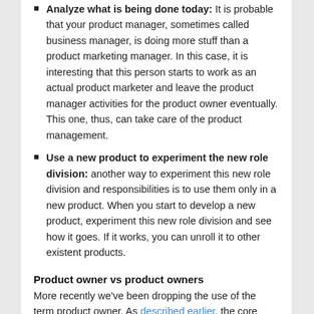Analyze what is being done today: It is probable that your product manager, sometimes called business manager, is doing more stuff than a product marketing manager. In this case, it is interesting that this person starts to work as an actual product marketer and leave the product manager activities for the product owner eventually. This one, thus, can take care of the product management.
Use a new product to experiment the new role division: another way to experiment this new role division and responsibilities is to use them only in a new product. When you start to develop a new product, experiment this new role division and see how it goes. If it works, you can unroll it to other existent products.
Product owner vs product owners
More recently we've been dropping the use of the term product owner. As described earlier, the core team of software product development is composed of product managers, UX designers and software engineers.